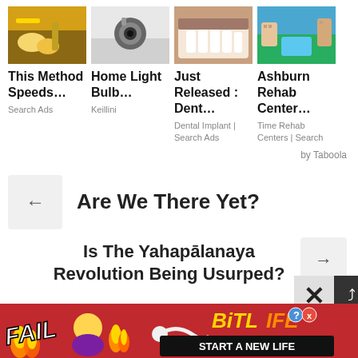[Figure (infographic): Taboola ad grid with 4 sponsored content items: (1) food/cooking image with title 'This Method Speeds...' from Search Ads, (2) security camera image with title 'Home Light Bulb...' from Keillini, (3) dental/teeth image with title 'Just Released: Dent...' from Dental Implant | Search Ads, (4) aerial resort image with title 'Ashburn Rehab Center...' from Time Rehab Centers | Search]
by Taboola
Are We There Yet?
Is The Yahapālanaya Revolution Being Usurped?
[Figure (infographic): Bottom banner advertisement for BitLife game with red background, 'FAIL' text, cartoon character, flames, BitLife logo, and 'START A NEW LIFE' button]